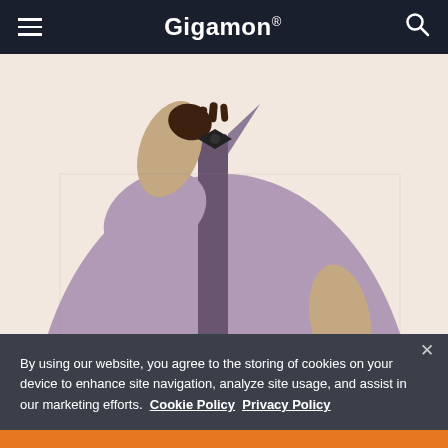Gigamon®
[Figure (photo): A man in a light purple/lavender button-up shirt holding a smartphone in his right hand and adjusting his collar with his left hand. The background is a warm beige/cream color. Only the torso and hands are visible, not the face.]
By using our website, you agree to the storing of cookies on your device to enhance site navigation, analyze site usage, and assist in our marketing efforts.  Cookie Policy  Privacy Policy